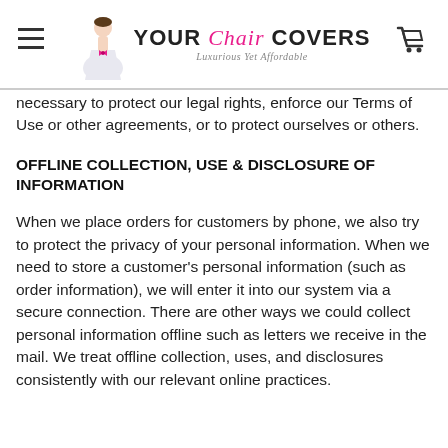YOUR Chair COVERS — Luxurious Yet Affordable
necessary to protect our legal rights, enforce our Terms of Use or other agreements, or to protect ourselves or others.
OFFLINE COLLECTION, USE & DISCLOSURE OF INFORMATION
When we place orders for customers by phone, we also try to protect the privacy of your personal information. When we need to store a customer's personal information (such as order information), we will enter it into our system via a secure connection. There are other ways we could collect personal information offline such as letters we receive in the mail. We treat offline collection, uses, and disclosures consistently with our relevant online practices.